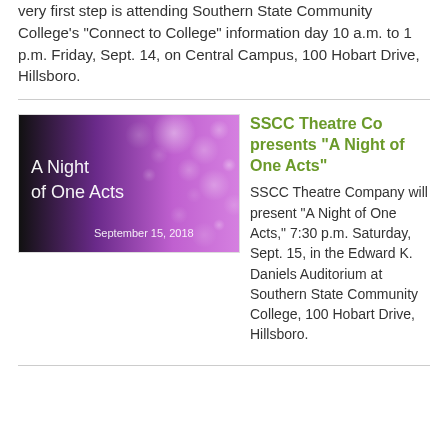very first step is attending Southern State Community College's "Connect to College" information day 10 a.m. to 1 p.m. Friday, Sept. 14, on Central Campus, 100 Hobart Drive, Hillsboro.
[Figure (illustration): Promotional banner for 'A Night of One Acts' event on September 15, 2018. Dark background fading to purple with bokeh lights. White text reads 'A Night of One Acts' with 'September 15, 2018' in bottom right.]
SSCC Theatre Co presents "A Night of One Acts"
SSCC Theatre Company will present "A Night of One Acts," 7:30 p.m. Saturday, Sept. 15, in the Edward K. Daniels Auditorium at Southern State Community College, 100 Hobart Drive, Hillsboro.